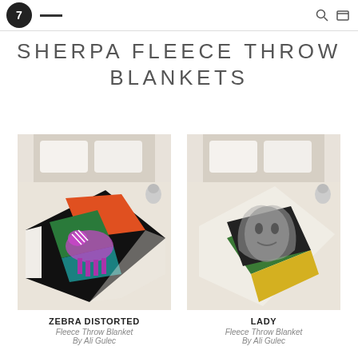SHERPA FLEECE THROW BLANKETS
[Figure (photo): Overhead view of a bed with a black sherpa fleece throw blanket featuring a colorful distorted zebra design in pink, purple, green, orange and red]
ZEBRA DISTORTED
Fleece Throw Blanket
By Ali Gulec
[Figure (photo): Overhead view of a bed with a sherpa fleece throw blanket featuring a lady portrait design with green and yellow abstract background]
LADY
Fleece Throw Blanket
By Ali Gulec